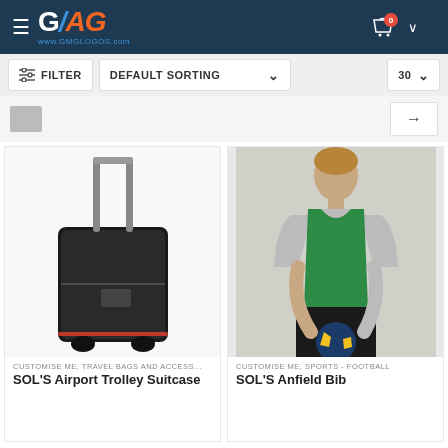[Figure (logo): GMAG logo with GMG text in white/blue/orange on dark navy header background, with cart icon top right]
[Figure (screenshot): Filter bar with FILTER button, DEFAULT SORTING dropdown, and 30 count dropdown on grey background]
[Figure (screenshot): Pagination area with page number and right arrow button]
[Figure (photo): Black trolley suitcase with extended handle on white background]
CUSTOMISE ME, TRAVEL BAGS AND ACCESS...
SOL'S Airport Trolley Suitcase
[Figure (photo): Man wearing green sports bib/vest holding a football, on light background]
CUSTOMISE ME, SPORTS - FOOTBALL
SOL'S Anfield Bib